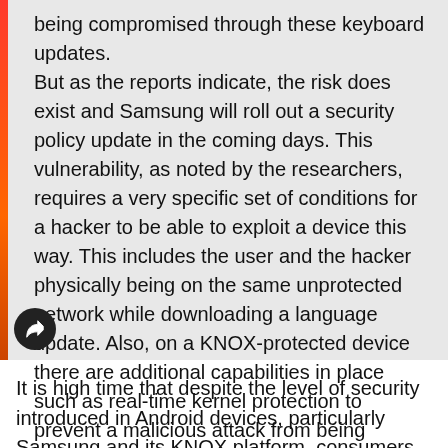being compromised through these keyboard updates. But as the reports indicate, the risk does exist and Samsung will roll out a security policy update in the coming days. This vulnerability, as noted by the researchers, requires a very specific set of conditions for a hacker to be able to exploit a device this way. This includes the user and the hacker physically being on the same unprotected network while downloading a language update. Also, on a KNOX-protected device there are additional capabilities in place such as real-time kernel protection to prevent a malicious attack from being effective."
It is high time that despite the level of security introduced in Android devices, particularly Samsung and its KNOX platform, consumers should accept that